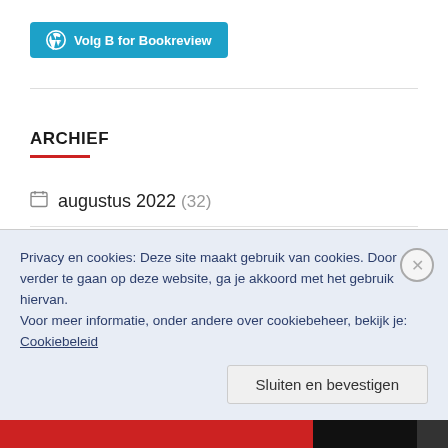[Figure (logo): WordPress follow button with W icon and text 'Volg B for Bookreview' in teal/blue]
ARCHIEF
augustus 2022 (32)
juli 2022 (58)
Privacy en cookies: Deze site maakt gebruik van cookies. Door verder te gaan op deze website, ga je akkoord met het gebruik hiervan. Voor meer informatie, onder andere over cookiebeheer, bekijk je: Cookiebeleid
Sluiten en bevestigen